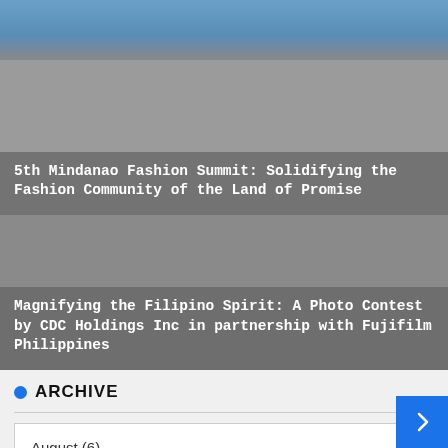[Figure (photo): Top portion of an article card with a blue sky and building rooftop, partially visible]
5th Mindanao Fashion Summit: Solidifying the Fashion Community of the Land of Promise
Magnifying the Filipino Spirit: A Photo Contest by CDC Holdings Inc in partnership with Fujifilm Philippines
ARCHIVE
August (6)
SPONSOR